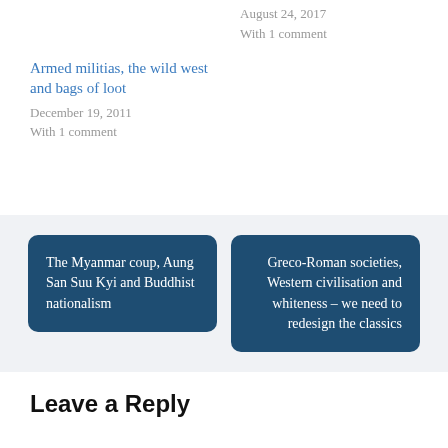August 24, 2017
With 1 comment
Armed militias, the wild west and bags of loot
December 19, 2011
With 1 comment
The Myanmar coup, Aung San Suu Kyi and Buddhist nationalism
Greco-Roman societies, Western civilisation and whiteness – we need to redesign the classics
Leave a Reply